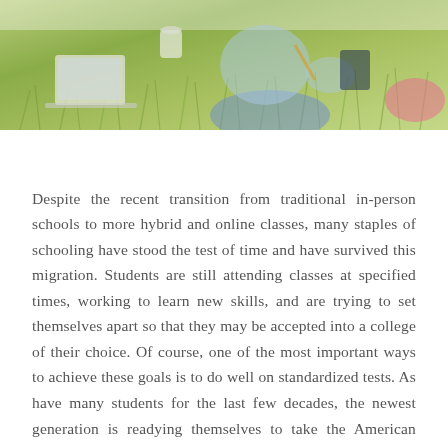[Figure (photo): A student sitting on grass outdoors with a laptop and books, holding a pencil or stylus, wearing jeans and a light blue shirt. A pink bag is visible at the right edge.]
Despite the recent transition from traditional in-person schools to more hybrid and online classes, many staples of schooling have stood the test of time and have survived this migration. Students are still attending classes at specified times, working to learn new skills, and are trying to set themselves apart so that they may be accepted into a college of their choice. Of course, one of the most important ways to achieve these goals is to do well on standardized tests. As have many students for the last few decades, the newest generation is readying themselves to take the American College Test, or ACT.